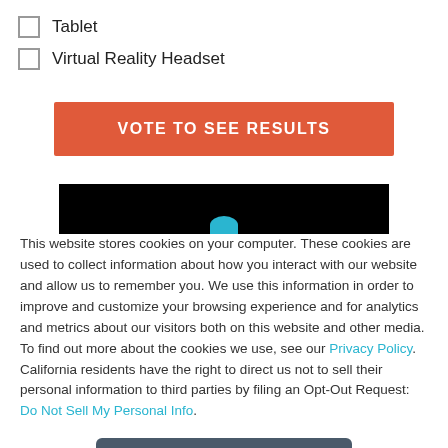Tablet
Virtual Reality Headset
VOTE TO SEE RESULTS
[Figure (screenshot): Black banner with a small cyan/teal icon at the bottom center, representing a cookie consent UI overlay on a website.]
This website stores cookies on your computer. These cookies are used to collect information about how you interact with our website and allow us to remember you. We use this information in order to improve and customize your browsing experience and for analytics and metrics about our visitors both on this website and other media. To find out more about the cookies we use, see our Privacy Policy. California residents have the right to direct us not to sell their personal information to third parties by filing an Opt-Out Request: Do Not Sell My Personal Info.
Accept